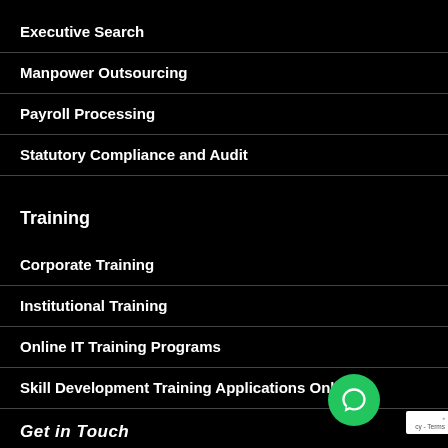Executive Search
Manpower Outsourcing
Payroll Processing
Statutory Compliance and Audit
Training
Corporate Training
Institutional Training
Online IT Training Programs
Skill Development Training Applications Online
Get in Touch